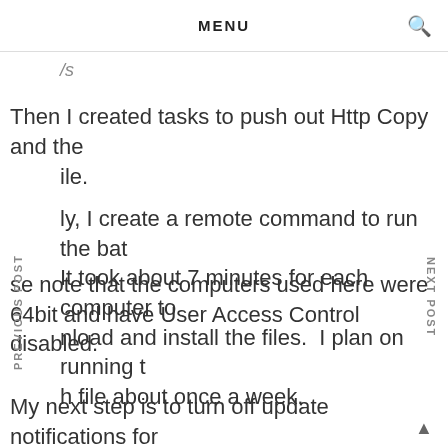MENU
/s
Then I created tasks to push out Http Copy and the
ile.
ly, I create a remote command to run the bat
It took about 7 minutes for each computer to
nload and install the files.  I plan on running t
h file about once a week.
se note that the computers used here were 64bit and have User Access Control disabled.
My next step is to turn off update notifications for these products on the end users machines.